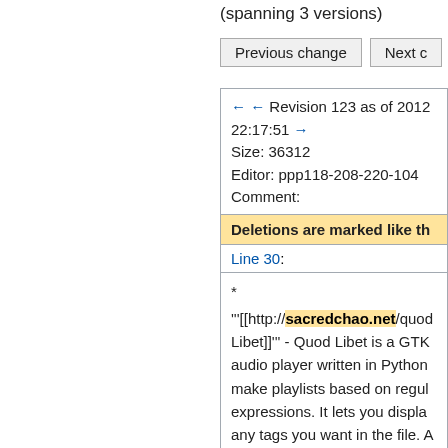(spanning 3 versions)
Previous change   Next c
← ← Revision 123 as of 2012-... 22:17:51 →
Size: 36312
Editor: ppp118-208-220-104
Comment:
Deletions are marked like th
Line 30:
* '"[[http://sacredchao.net/quod Libet]]"' - Quod Libet is a GTK audio player written in Python make playlists based on regul expressions. It lets you displa any tags you want in the file. A you do this for all the file form supports -- Ogg Vorbis, FLAC, Musepack, and MOD.